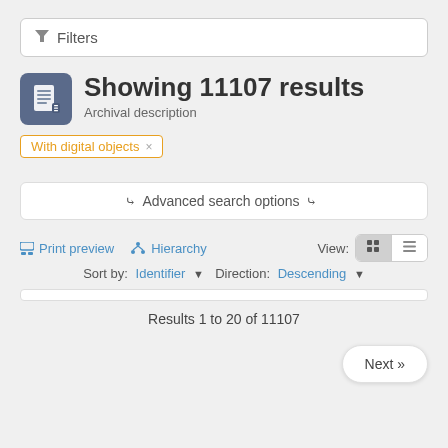Filters
Showing 11107 results
Archival description
With digital objects ×
❮❮ Advanced search options ❯❯
Print preview   Hierarchy   View:   Sort by: Identifier ▾ Direction: Descending ▾
Results 1 to 20 of 11107
Next »